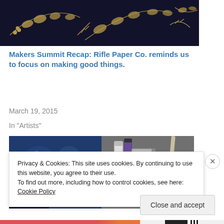[Figure (photo): Dark navy/black fabric with gold botanical leaf and berry pattern, partially cropped at top of page.]
Makers Summit Recap: Rifle Paper Co. reminds us to focus on making good things.
March 19, 2015
In "Artists"
[Figure (photo): Art supplies and craft materials on a blue floral fabric and grey stone surface: paint tubes, scissors, dark berries, thread/yarn.]
Privacy & Cookies: This site uses cookies. By continuing to use this website, you agree to their use.
To find out more, including how to control cookies, see here: Cookie Policy
Close and accept